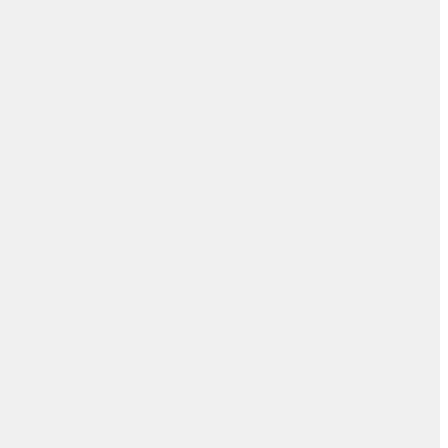We're to show the same love as Ch...
We're not to stamp our feet,
"This is our land! So stay away!" —

And say, if my child murdered...
Or if it were some members o...
Oh dear, for how unfair, folly...
'Cause such isn't the way of Chr...

All why I'm glad, because we'...
Anything but the better...
So, call yourself a Christian, bu...
Because you won't receive His b...

Especially if what some wom...
Nor done your time, for God's re...
Yes, no matter what good you...
For God will only be sav...

It may well be that God has al...
You automatically meet...
In other words, your prese...
And...
Americans too, have seriou...